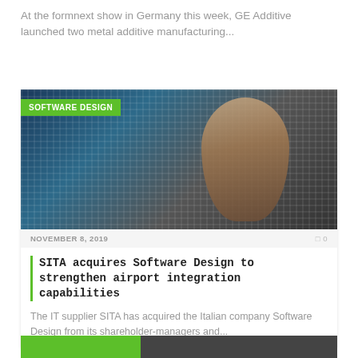At the formnext show in Germany this week, GE Additive launched two metal additive manufacturing...
[Figure (photo): News article card with 'SOFTWARE DESIGN' category badge over a dark image of a man looking through a digital data overlay in a server room setting]
NOVEMBER 8, 2019   0
SITA acquires Software Design to strengthen airport integration capabilities
The IT supplier SITA has acquired the Italian company Software Design from its shareholder-managers and...